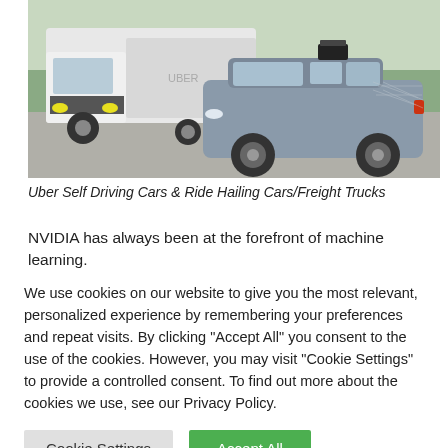[Figure (photo): Photo of Uber self-driving cars and freight trucks — a white semi-truck and a grey Volvo XC90 SUV with self-driving sensor equipment on a tarmac surface.]
Uber Self Driving Cars & Ride Hailing Cars/Freight Trucks
NVIDIA has always been at the forefront of machine learning.
We use cookies on our website to give you the most relevant, personalized experience by remembering your preferences and repeat visits. By clicking "Accept All" you consent to the use of the cookies. However, you may visit "Cookie Settings" to provide a controlled consent. To find out more about the cookies we use, see our Privacy Policy.